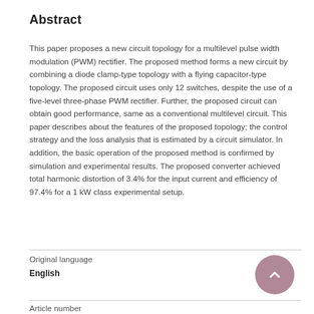Abstract
This paper proposes a new circuit topology for a multilevel pulse width modulation (PWM) rectifier. The proposed method forms a new circuit by combining a diode clamp-type topology with a flying capacitor-type topology. The proposed circuit uses only 12 switches, despite the use of a five-level three-phase PWM rectifier. Further, the proposed circuit can obtain good performance, same as a conventional multilevel circuit. This paper describes about the features of the proposed topology; the control strategy and the loss analysis that is estimated by a circuit simulator. In addition, the basic operation of the proposed method is confirmed by simulation and experimental results. The proposed converter achieved total harmonic distortion of 3.4% for the input current and efficiency of 97.4% for a 1 kW class experimental setup.
Original language
English
Article number